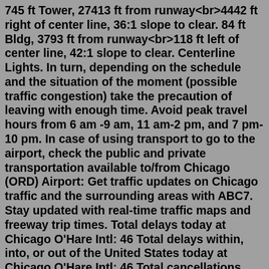745 ft Tower, 27413 ft from runway<br>4442 ft right of center line, 36:1 slope to clear. 84 ft Bldg, 3793 ft from runway<br>118 ft left of center line, 42:1 slope to clear. Centerline Lights. In turn, depending on the schedule and the situation of the moment (possible traffic congestion) take the precaution of leaving with enough time. Avoid peak travel hours from 6 am -9 am, 11 am-2 pm, and 7 pm-10 pm. In case of using transport to go to the airport, check the public and private transportation available to/from Chicago (ORD) Airport: Get traffic updates on Chicago traffic and the surrounding areas with ABC7. Stay updated with real-time traffic maps and freeway trip times. Total delays today at Chicago O'Hare Intl: 46 Total delays within, into, or out of the United States today at Chicago O'Hare Intl: 46 Total cancellations today at Chicago O'Hare Intl: 0 Prevent traffic congestion - Avoid the busy curb dropoff and consider arriving at O'Hare on the Chicago Transit Authority (CTA) Blue Line or getting dropped off at the Kiss 'n' Fly area at the Multi-Modal Facility to prevent traffic congestion.